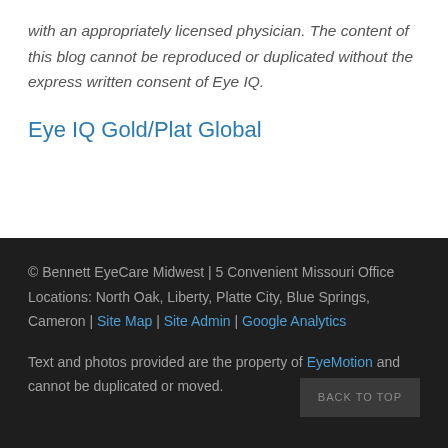with an appropriately licensed physician. The content of this blog cannot be reproduced or duplicated without the express written consent of Eye IQ.
Eye IQ Gold/Plat Global
© Bennett EyeCare Midwest | 5 Convenient Missouri Office Locations: North Oak, Liberty, Platte City, Blue Springs, Cameron | Site Map | Site Admin | Google Analytics
Text and photos provided are the property of EyeMotion and cannot be duplicated or moved.